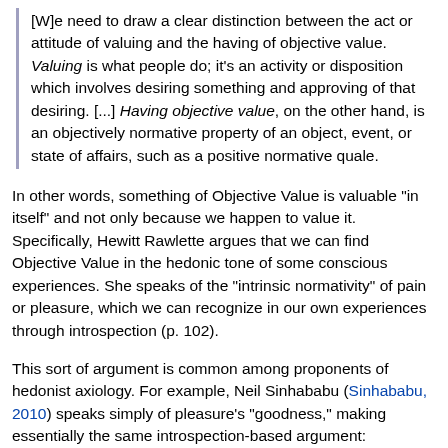[W]e need to draw a clear distinction between the act or attitude of valuing and the having of objective value. Valuing is what people do; it's an activity or disposition which involves desiring something and approving of that desiring. [...] Having objective value, on the other hand, is an objectively normative property of an object, event, or state of affairs, such as a positive normative quale.
In other words, something of Objective Value is valuable "in itself" and not only because we happen to value it. Specifically, Hewitt Rawlette argues that we can find Objective Value in the hedonic tone of some conscious experiences. She speaks of the "intrinsic normativity" of pain or pleasure, which we can recognize in our own experiences through introspection (p. 102).
This sort of argument is common among proponents of hedonist axiology. For example, Neil Sinhababu (Sinhababu, 2010) speaks simply of pleasure's "goodness," making essentially the same introspection-based argument:
When looking at a lemon and considering the phenomenal